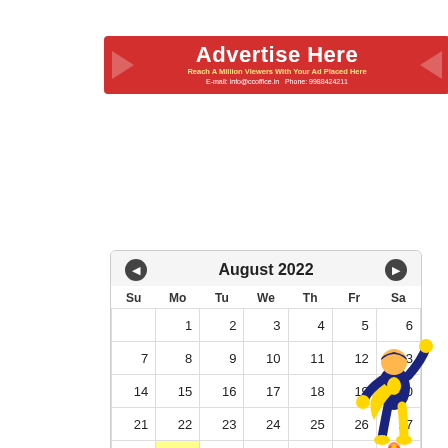[Figure (infographic): Red advertisement banner with white 'Advertise Here' text, spotlight graphics, yellow subtitle 'Reach A Million Viewers With Your Ad Placed Here', and contact info E-mail: info@ccoffice.in Phone: 9988424211]
| Su | Mo | Tu | We | Th | Fr | Sa |
| --- | --- | --- | --- | --- | --- | --- |
|  | 1 | 2 | 3 | 4 | 5 | 6 |
| 7 | 8 | 9 | 10 | 11 | 12 | 13 |
| 14 | 15 | 16 | 17 | 18 | 19 | 20 |
| 21 | 22 | 23 | 24 | 25 | 26 | 27 |
| 28 | 29 | 30 | 31 |  |  |  |
What's New on 29/08/2022
[Figure (illustration): Superhero character in blue and yellow costume flying upward with fist raised, with rocket flame at bottom]